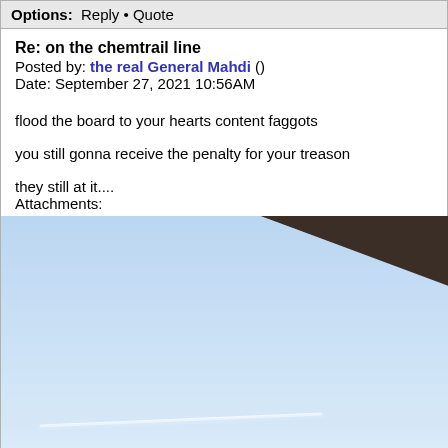Options:  Reply • Quote
Re: on the chemtrail line
Posted by: the real General Mahdi ()
Date: September 27, 2021 10:56AM
flood the board to your hearts content faggots
you still gonna receive the penalty for your treason
they still at it....
Attachments:
[Figure (photo): Photo of a sky scene with a dark roof/overhang diagonal across the upper right, bright white sun glare in upper right area, pale blue sky, and a faint white chemtrail/contrail streak visible near the bottom of the image.]